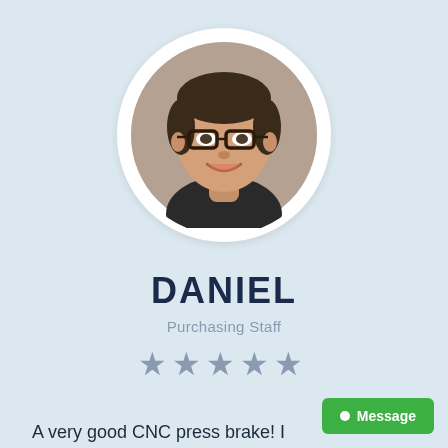[Figure (photo): Circular avatar photo of a young man with glasses and dark hair, smiling, wearing a dark jacket. Background is blurred outdoor scene.]
DANIEL
Purchasing Staff
[Figure (other): Five star rating icons in grey/dark grey color]
A very good CNC press brake! I installed the machine very quickly
● Message